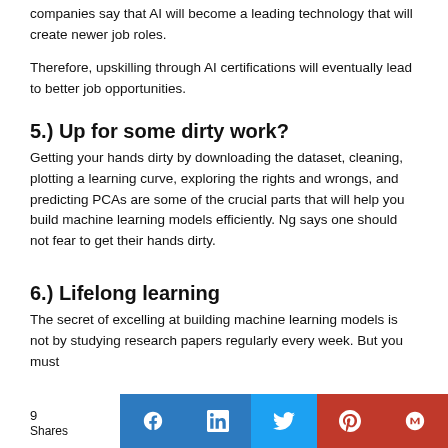companies say that AI will become a leading technology that will create newer job roles.
Therefore, upskilling through AI certifications will eventually lead to better job opportunities.
5.) Up for some dirty work?
Getting your hands dirty by downloading the dataset, cleaning, plotting a learning curve, exploring the rights and wrongs, and predicting PCAs are some of the crucial parts that will help you build machine learning models efficiently. Ng says one should not fear to get their hands dirty.
6.) Lifelong learning
The secret of excelling at building machine learning models is not by studying research papers regularly every week. But you must
9 Shares